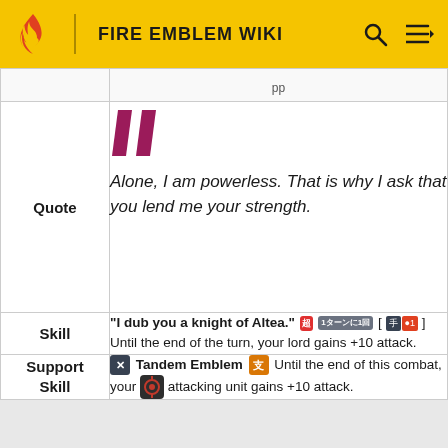FIRE EMBLEM WIKI
|  |  |
| --- | --- |
| Quote | Alone, I am powerless. That is why I ask that you lend me your strength. |
| Skill | "I dub you a knight of Altea." [超][1ターンに1回] [ [手] ] Until the end of the turn, your lord gains +10 attack. |
| Support Skill | [X] Tandem Emblem [支] Until the end of this combat, your [emblem] attacking unit gains +10 attack. |